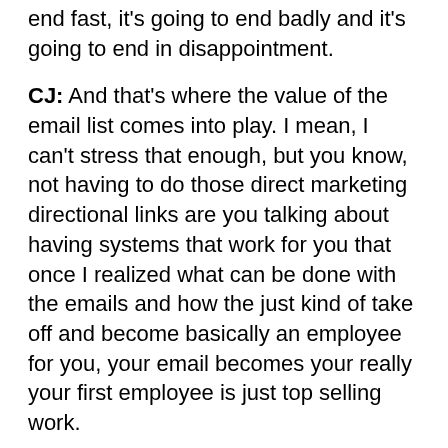end fast, it's going to end badly and it's going to end in disappointment.
CJ: And that's where the value of the email list comes into play. I mean, I can't stress that enough, but you know, not having to do those direct marketing directional links are you talking about having systems that work for you that once I realized what can be done with the emails and how the just kind of take off and become basically an employee for you, your email becomes your really your first employee is just top selling work.
Dave: Content is, you know, video that takes off, whether it be on YouTube or TikTok. That becomes like a little army of salespeople, you know, who are knocking on doors, right? And a list is also an army of marketing and sales people and now you've gone and